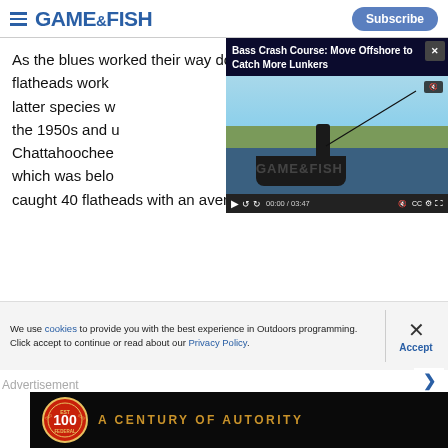GAME&FISH — Subscribe
As the blues worked their way downstream flatheads work latter species w the 1950s and u Chattahoochee which was belo caught 40 flatheads with an average weight of 3
[Figure (screenshot): Video overlay: Bass Crash Course: Move Offshore to Catch More Lunkers — video player showing a fisherman on a boat, duration 00:00 / 03:47]
We use cookies to provide you with the best experience in Outdoors programming. Click accept to continue or read about our Privacy Policy.
Advertisement
[Figure (logo): Federal Ammunition — 100 years badge logo with text A CENTURY OF AUTORITY on black background]